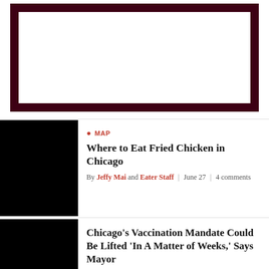[Figure (other): Large rectangular image area with dark maroon/burgundy border and white interior, likely an advertisement or banner placeholder]
Where to Eat Fried Chicken in Chicago
By Jeffy Mai and Eater Staff | June 27 | 4 comments
Chicago's Vaccination Mandate Could Be Lifted 'In A Matter of Weeks,' Says Mayor
By aimee.levitt and Naomi Waxman | February 7